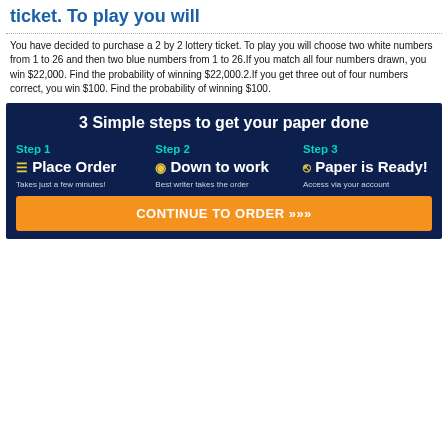ticket. To play you will
You have decided to purchase a 2 by 2 lottery ticket. To play you will choose two white numbers from 1 to 26 and then two blue numbers from 1 to 26.If you match all four numbers drawn, you win $22,000. Find the probability of winning $22,000.2.If you get three out of four numbers correct, you win $100. Find the probability of winning $100.
[Figure (infographic): Promotional infographic with dark blue background showing '3 Simple steps to get your paper done' with three steps: Step 1 - Place Order (Takes just a few minutes!), Step 2 - Down to work (Best writer takes the order), Step 3 - Paper is Ready! (Access via your account), and a Continue to Order button.]